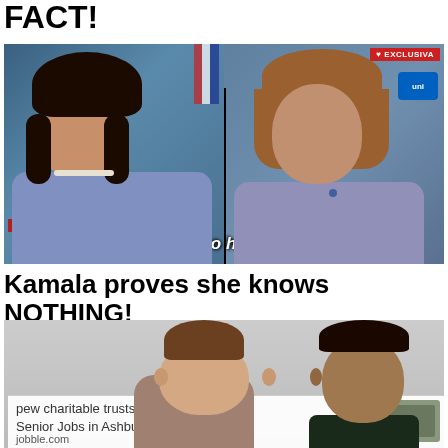FACT!
[Figure (screenshot): TV screenshot split-screen showing two women. Left side: woman in blue jacket with pearl necklace, 'WASHINGTON, DC' chyron in red. Right side: woman with bob haircut, 'SALA DE REDACCION' chyron. 'EXCLUSIVA' badge top right. Subtitle reads 'El gobierno ha pedido...']
Kamala proves she knows NOTHING!
[Figure (photo): Photo of a baby and a smiling man. Overlay ad at bottom reads 'pew charitable trusts Public Accounting - Senior Jobs in Ashburn Apply Now jobble.com']
pew charitable trusts Public Accounting - Senior Jobs in Ashburn Apply Now
jobble.com